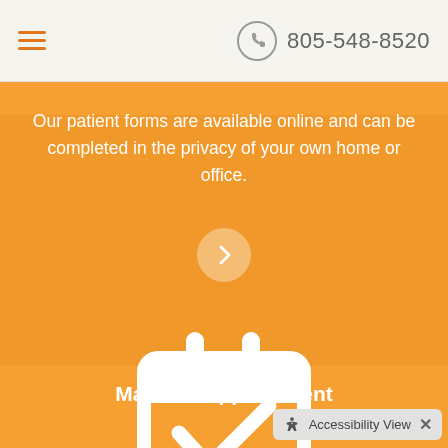≡  805-548-8520
Our patient forms are available online and can be completed in the privacy of your own home or office.
[Figure (illustration): White circular button with right-pointing chevron/arrow on orange background]
[Figure (illustration): White calendar icon with checkmark on orange background]
Make an Appointment
Accessibility View  ✕